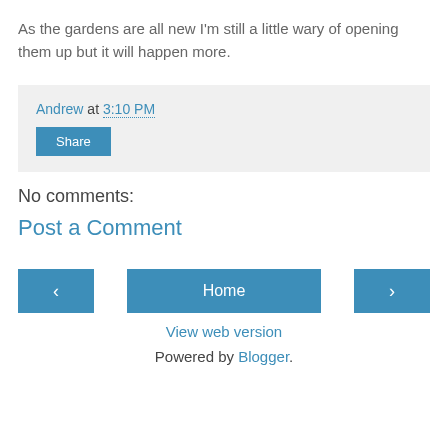As the gardens are all new I'm still a little wary of opening them up but it will happen more.
Andrew at 3:10 PM
Share
No comments:
Post a Comment
‹
Home
›
View web version
Powered by Blogger.